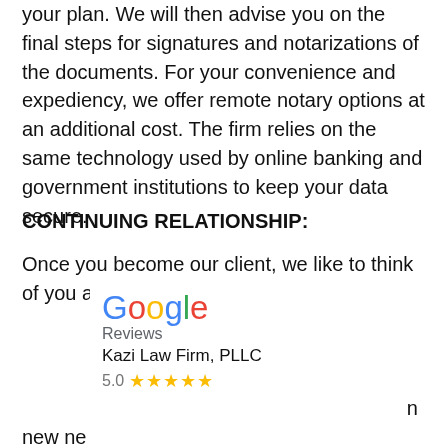your plan. We will then advise you on the final steps for signatures and notarizations of the documents. For your convenience and expediency, we offer remote notary options at an additional cost. The firm relies on the same technology used by online banking and government institutions to keep your data secure.
CONTINUING RELATIONSHIP:
Once you become our client, we like to think of you as part of the Kazi Law Firm family. As such, we are always here for you and your loved ones. You may have questions about the work we completed. We also send periodic newsletters keeping you updated on new developments in the law, circumstances that affect your planning needs, changes in law that affect current stances on the law, critical issues requiring current developments in the law, and critical issues affecting your family and finances.
[Figure (other): Google Reviews widget showing Kazi Law Firm, PLLC with a 5.0 star rating]